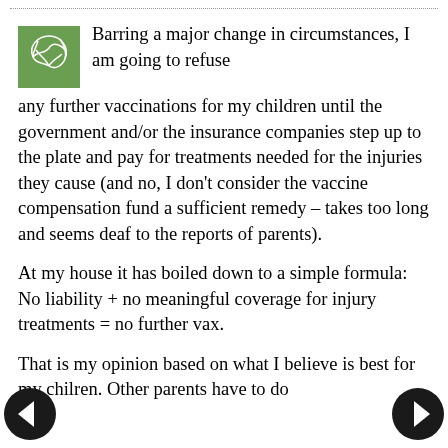Barring a major change in circumstances, I am going to refuse any further vaccinations for my children until the government and/or the insurance companies step up to the plate and pay for treatments needed for the injuries they cause (and no, I don't consider the vaccine compensation fund a sufficient remedy – takes too long and seems deaf to the reports of parents).
At my house it has boiled down to a simple formula: No liability + no meaningful coverage for injury treatments = no further vax.
That is my opinion based on what I believe is best for my chilren. Other parents have to do